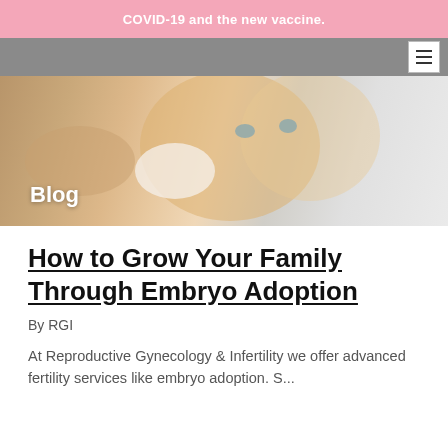COVID-19 and the new vaccine.
[Figure (photo): Close-up photo of a baby with blue eyes being wiped with a cloth by an adult hand, against a light background. The word 'Blog' is overlaid in white text at the lower left.]
How to Grow Your Family Through Embryo Adoption
By RGI
At Reproductive Gynecology & Infertility we offer advanced fertility services like embryo adoption. S...